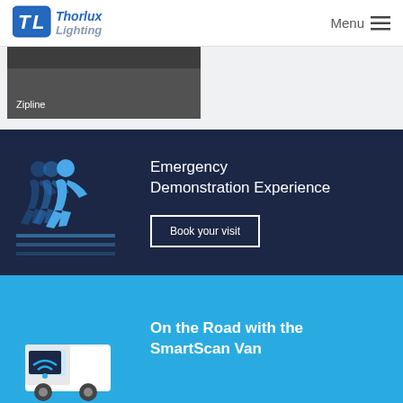[Figure (logo): Thorlux Lighting logo with TL icon in blue and gray text]
Menu ≡
[Figure (illustration): Dark gray card with 'Zipline' text label on light gray background]
Zipline
[Figure (illustration): Emergency exit/running person icon in shades of blue on dark navy background]
Emergency Demonstration Experience
Book your visit
[Figure (illustration): SmartScan van icon with WiFi/scan symbol on cyan background]
On the Road with the SmartScan Van